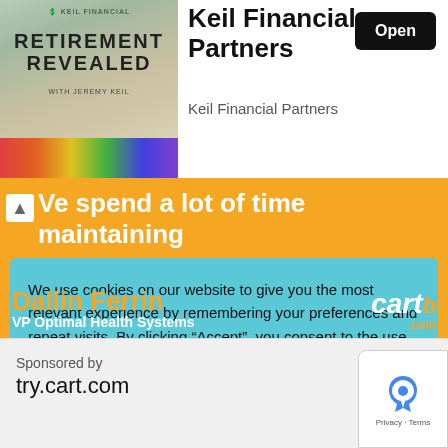[Figure (screenshot): App store listing for Keil Financial Partners / Retirement Revealed podcast app with orange icon showing 'RETIREMENT REVEALED WITH JEREMY KEIL' text]
Keil Financial Partners
Keil Financial Partners
We spend a lot of time maintaining our data and it seems pretty fragile
We use cookies on our website to give you the most relevant experience by remembering your preferences and repeat visits. By clicking “Accept”, you consent to the use of ALL the cookies.
Do not sell my personal information.
Cookie Settings
Accept
Dallin Ferrin
VP Optimal Health Systems
[Figure (logo): cart.com logo]
Sponsored by
try.cart.com
[Figure (other): reCAPTCHA widget showing Privacy and Terms]